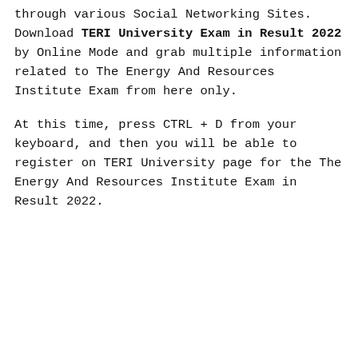through various Social Networking Sites. Download TERI University Exam in Result 2022 by Online Mode and grab multiple information related to The Energy And Resources Institute Exam from here only.
At this time, press CTRL + D from your keyboard, and then you will be able to register on TERI University page for the The Energy And Resources Institute Exam in Result 2022.